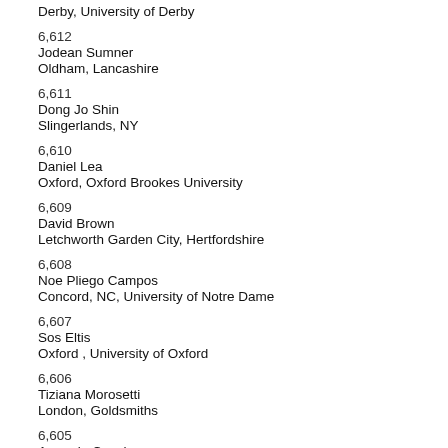Derby, University of Derby
6,612
Jodean Sumner
Oldham, Lancashire
6,611
Dong Jo Shin
Slingerlands, NY
6,610
Daniel Lea
Oxford, Oxford Brookes University
6,609
David Brown
Letchworth Garden City, Hertfordshire
6,608
Noe Pliego Campos
Concord, NC, University of Notre Dame
6,607
Sos Eltis
Oxford , University of Oxford
6,606
Tiziana Morosetti
London, Goldsmiths
6,605
Amanda Couch